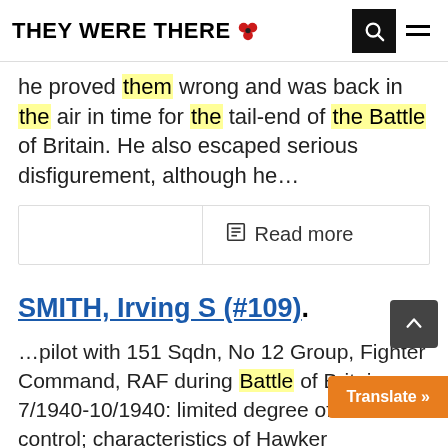THEY WERE THERE
he proved them wrong and was back in the air in time for the tail-end of the Battle of Britain. He also escaped serious disfigurement, although he…
Read more
SMITH, Irving S (#109)
…pilot with 151 Sqdn, No 12 Group, Fighter Command, RAF during Battle of Britain, 7/1940-10/1940: limited degree of radar control; characteristics of Hawker Hurrican… including features, opinions with…